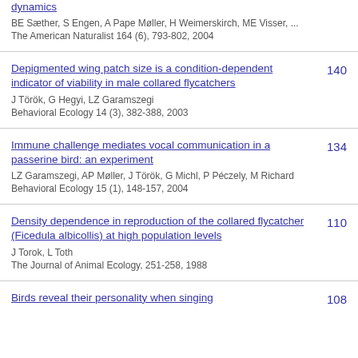dynamics
BE Sæther, S Engen, A Pape Møller, H Weimerskirch, ME Visser, ...
The American Naturalist 164 (6), 793-802, 2004
Depigmented wing patch size is a condition-dependent indicator of viability in male collared flycatchers | 140
J Török, G Hegyi, LZ Garamszegi
Behavioral Ecology 14 (3), 382-388, 2003
Immune challenge mediates vocal communication in a passerine bird: an experiment | 134
LZ Garamszegi, AP Møller, J Török, G Michl, P Péczely, M Richard
Behavioral Ecology 15 (1), 148-157, 2004
Density dependence in reproduction of the collared flycatcher (Ficedula albicollis) at high population levels | 110
J Torok, L Toth
The Journal of Animal Ecology, 251-258, 1988
Birds reveal their personality when singing | 108